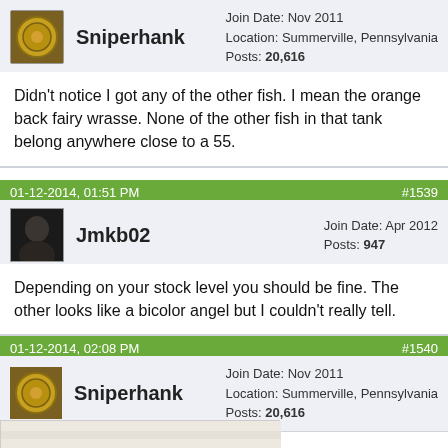[Figure (screenshot): User avatar for Sniperhank - circular coin-like image on brownish background]
Sniperhank
Join Date: Nov 2011
Location: Summerville, Pennsylvania
Posts: 20,616
Didn't notice I got any of the other fish. I mean the orange back fairy wrasse. None of the other fish in that tank belong anywhere close to a 55.
01-12-2014, 01:51 PM
#1539
[Figure (photo): User avatar for Jmkb02 - dark photo]
Jmkb02
Join Date: Apr 2012
Posts: 947
Depending on your stock level you should be fine. The other looks like a bicolor angel but I couldn't really tell.
01-12-2014, 02:08 PM
#1540
[Figure (photo): User avatar for Sniperhank - circular coin-like image]
Sniperhank
Join Date: Nov 2011
Location: Summerville, Pennsylvania
Posts: 20,616
[Figure (photo): Partial photo preview at bottom of page, light beige/white colors]